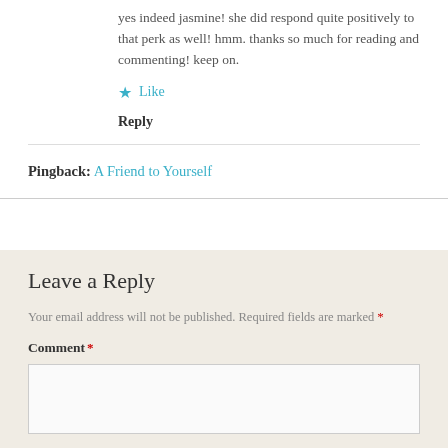yes indeed jasmine! she did respond quite positively to that perk as well! hmm. thanks so much for reading and commenting! keep on.
★ Like
Reply
Pingback: A Friend to Yourself
Leave a Reply
Your email address will not be published. Required fields are marked *
Comment *